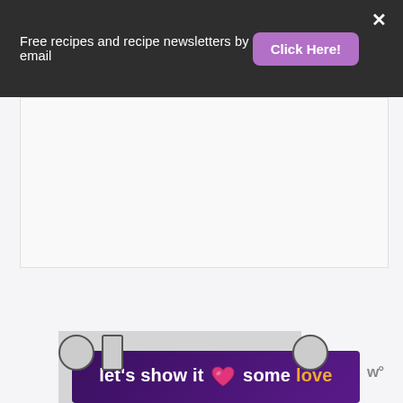Free recipes and recipe newsletters by email  Click Here!
[Figure (other): White advertisement placeholder banner area]
[Figure (other): Bottom section showing a promotional banner reading 'let’s show it some love' with a pink heart icon on a purple gradient background, alongside a 'w°' watermark logo]
let’s show it some love